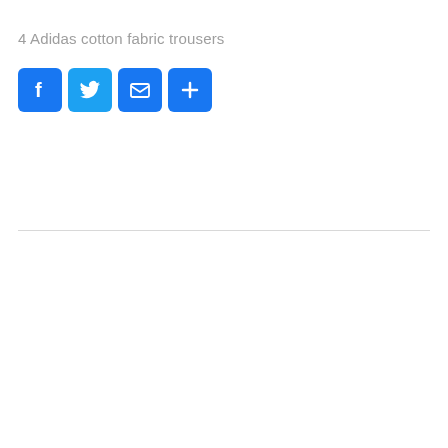4 Adidas cotton fabric trousers
[Figure (other): Row of four social sharing icon buttons: Facebook (blue, f logo), Twitter (blue, bird logo), Email (blue, envelope icon), More/Share (blue, plus icon)]